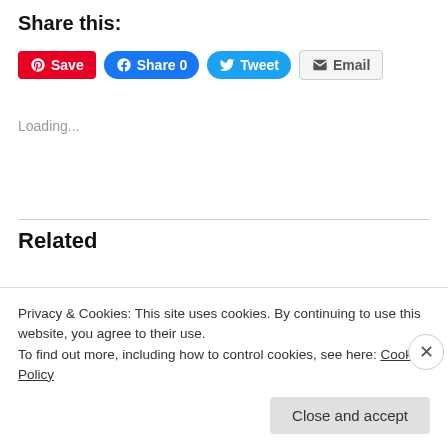Share this:
[Figure (other): Social share buttons: Pinterest Save, Facebook Share 0, Twitter Tweet, Email]
Loading...
Related
Oatmeal Pumpkin Cookie Sandwiches
December 10, 2015
Privacy & Cookies: This site uses cookies. By continuing to use this website, you agree to their use.
To find out more, including how to control cookies, see here: Cookie Policy